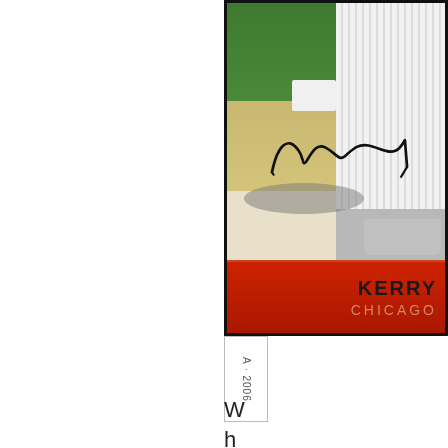[Figure (photo): Partial view of a baseball trading card showing a player in Chicago White Sox pinstripe uniform with a signature overlay. The card has a red nameplate at the bottom showing 'KERRY' and 'CHICAGO' text. The card has a black border and red accent strip.]
A · 2006
W h at